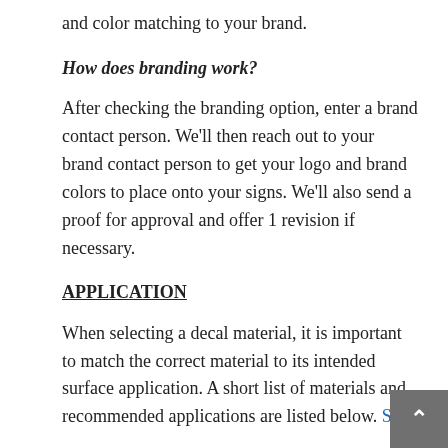and color matching to your brand.
How does branding work?
After checking the branding option, enter a brand contact person. We'll then reach out to your brand contact person to get your logo and brand colors to place onto your signs. We'll also send a proof for approval and offer 1 revision if necessary.
APPLICATION
When selecting a decal material, it is important to match the correct material to its intended surface application. A short list of materials and recommended applications are listed below. See